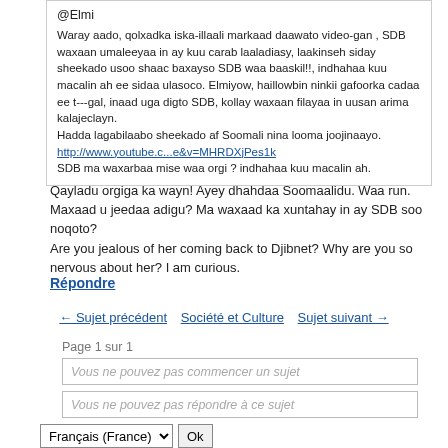@Elmi
Waray aado, qolxadka iska-illaali markaad daawato video-gan , SDB waxaan umaleeyaa in ay kuu carab laaladiasy, laakinseh siday sheekado usoo shaac baxayso SDB waa baaskil!!, indhahaa kuu macalin ah ee sidaa ulasoco. Elmiyow, haillowbin ninkii gafoorka cadaa ee t---gal, inaad uga digto SDB, kollay waxaan filayaa in uusan arima kalajeclayn. Hadda lagabilaabo sheekado af Soomali nina looma joojinaayo. http://www.youtube.c...e&v=MHRDXjPes1k SDB ma waxarbaa mise waa orgi ? indhahaa kuu macalin ah.
Qayladu orgiga ka wayn! Ayey dhahdaa Soomaalidu. Waa run. Maxaad u jeedaa adigu? Ma waxaad ka xuntahay in ay SDB soo noqoto? Are you jealous of her coming back to Djibnet? Why are you so nervous about her? I am curious.
Répondre
← Sujet précédent   Société et Culture   Sujet suivant →
Page 1 sur 1
Vous ne pouvez pas commencer un sujet
Vous ne pouvez pas répondre à ce sujet
Français (France)   Ok